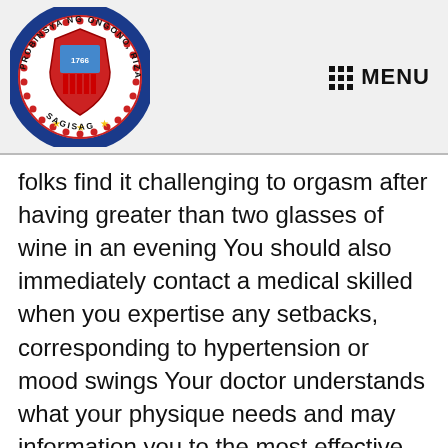[Figure (logo): Seal of the Province of Rizal, Philippines - circular seal with text 'PROBINSYA NG ONGONO, RIZAL' around the border, central shield with 1766 date, stars at bottom, 'SAGISAG' text]
MENU
folks find it challenging to orgasm after having greater than two glasses of wine in an evening You should also immediately contact a medical skilled when you expertise any setbacks, corresponding to hypertension or mood swings Your doctor understands what your physique needs and may information you to the most effective answer.
BlueChew makes use of the identical lively ingredients present in Viagra, which is an FDA-approved drug brand. With BlueChew...